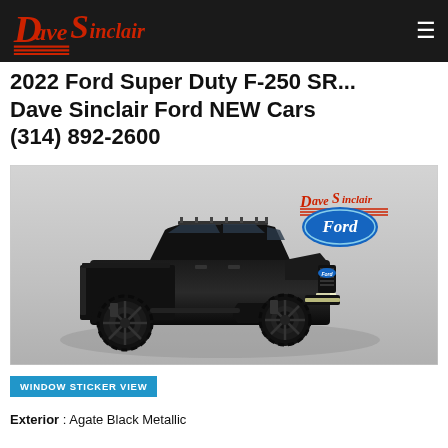Dave Sinclair Ford NEW Cars
2022 Ford Super Duty F-250 SR... Dave Sinclair Ford NEW Cars (314) 892-2600
[Figure (photo): Black 2022 Ford Super Duty F-250 truck with lift kit and roof rack, shown on a gray background with Dave Sinclair Ford logo in the upper right corner of the image.]
WINDOW STICKER VIEW
Exterior : Agate Black Metallic